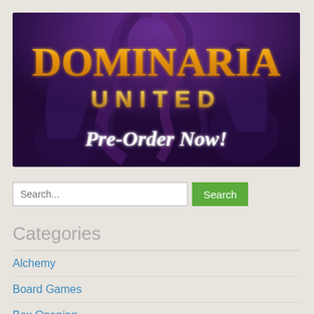[Figure (illustration): Dominaria United Magic: The Gathering set banner. Purple/dark fantasy artwork with creature tentacles in background. Large stylized text 'DOMINARIA' in orange/gold gradient, 'UNITED' in gold letters below, and 'Pre-Order Now!' in white bold italic text at the bottom of the banner.]
Search...
Search
Categories
Alchemy
Board Games
Box Opening